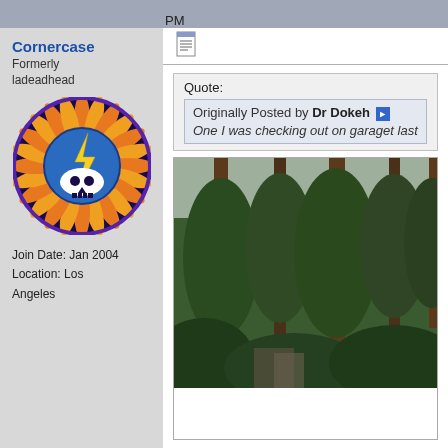PM
Cornercase
Formerly ladeadhead
[Figure (illustration): Grateful Dead steal your face logo with sun rays, circular badge design in blue, orange, and purple]
Join Date: Jan 2004
Location: Los Angeles
[Figure (screenshot): Toolbar icon - a notepad/document icon]
Quote:
Originally Posted by Dr Dokeh
One I was checking out on garaget last
[Figure (photo): Forest scene with tall pine trees and green foliage, overcast sky visible through trees]